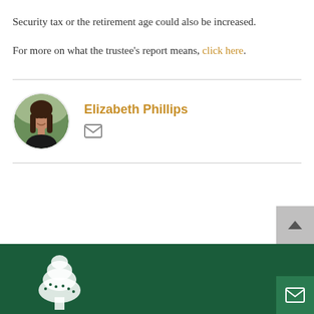Security tax or the retirement age could also be increased.
For more on what the trustee’s report means, click here.
Elizabeth Phillips
[Figure (photo): Circular headshot photo of Elizabeth Phillips, a woman with long dark brown hair, smiling, on a blurred outdoor background.]
[Figure (illustration): White tree logo illustration on dark green footer background.]
[Figure (other): Scroll-to-top button with upward chevron arrow on light gray background.]
[Figure (other): Email envelope button on dark green background.]